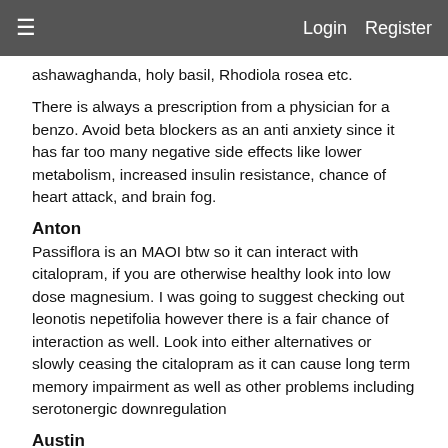≡   Login   Register
ashawaghanda, holy basil, Rhodiola rosea etc.
There is always a prescription from a physician for a benzo. Avoid beta blockers as an anti anxiety since it has far too many negative side effects like lower metabolism, increased insulin resistance, chance of heart attack, and brain fog.
Anton
Passiflora is an MAOI btw so it can interact with citalopram, if you are otherwise healthy look into low dose magnesium. I was going to suggest checking out leonotis nepetifolia however there is a fair chance of interaction as well. Look into either alternatives or slowly ceasing the citalopram as it can cause long term memory impairment as well as other problems including serotonergic downregulation
Austin
I'm not too experienced, but aniracetam is good for anxiety I've herd.